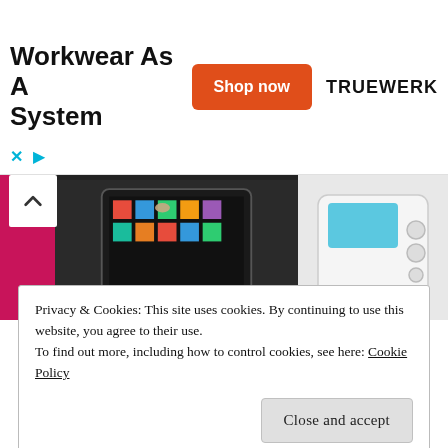Workkwear As A System
[Figure (photo): Ad banner with Shop now button and TRUEWERK brand]
[Figure (photo): Two photos of the Cube device – a tablet being touched and a white hardware device with buttons]
What is the #Cube you ask? How about reading all about the product features directly from the company? They really do explain it best:
Privacy & Cookies: This site uses cookies. By continuing to use this website, you agree to their use.
To find out more, including how to control cookies, see here: Cookie Policy
Close and accept